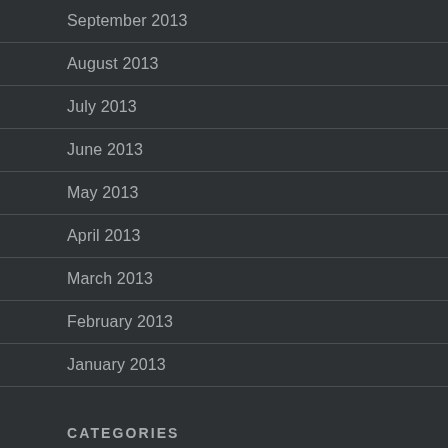September 2013
August 2013
July 2013
June 2013
May 2013
April 2013
March 2013
February 2013
January 2013
CATEGORIES